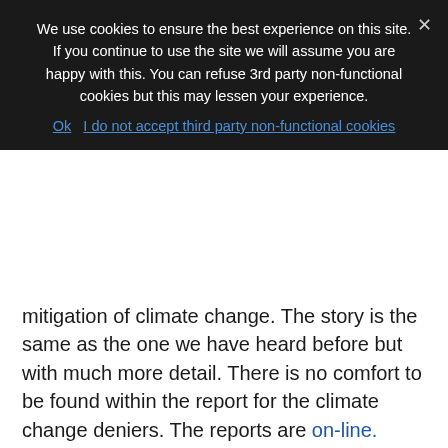We use cookies to ensure the best experience on this site. If you continue to use the site we will assume you are happy with this. You can refuse 3rd party non-functional cookies but this may lessen your experience.
Ok   I do not accept third party non-functional cookies
mitigation of climate change. The story is the same as the one we have heard before but with much more detail. There is no comfort to be found within the report for the climate change deniers. The reports are on-line. There was almost no mention of the challenge of climate change at WTM and the panel of efficient resource use which addressed carbon and water was the least well attended – we shall return to the issue in November 2015, in advance of the major international effort to secure agreement for action in Paris in December. The BBC has a summary available here.
5. USA & China Joint